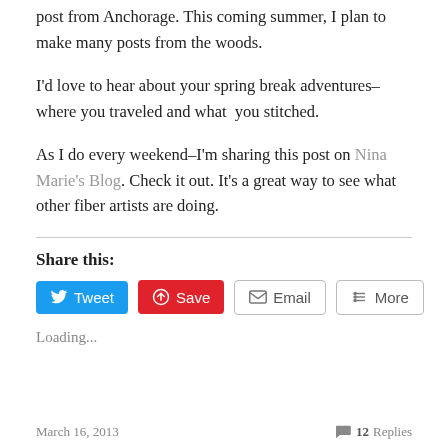post from Anchorage. This coming summer, I plan to make many posts from the woods.
I'd love to hear about your spring break adventures–where you traveled and what  you stitched.
As I do every weekend–I'm sharing this post on Nina Marie's Blog. Check it out. It's a great way to see what other fiber artists are doing.
Share this:
[Figure (screenshot): Social sharing buttons: Tweet (blue), Save (red), Email (gray outline), More (gray outline)]
Loading...
March 16, 2013    12 Replies